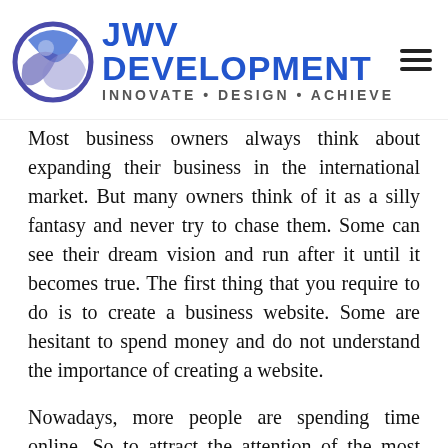JWV DEVELOPMENT INNOVATE • DESIGN • ACHIEVE
Most business owners always think about expanding their business in the international market. But many owners think of it as a silly fantasy and never try to chase them. Some can see their dream vision and run after it until it becomes true. The first thing that you require to do is to create a business website. Some are hesitant to spend money and do not understand the importance of creating a website.
Nowadays, more people are spending time online. So to attract the attention of the most potential online customer, all you could do is have a business website where they can come and check out your services or products. You can ask any reputed web design company in Grand Forks in North Dakota to create an exceptional and professional website. Numerous companies are fit for the